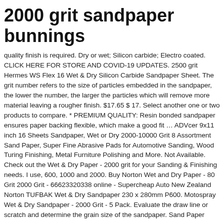2000 grit sandpaper bunnings
quality finish is required. Dry or wet; Silicon carbide; Electro coated. CLICK HERE FOR STORE AND COVID-19 UPDATES. 2500 grit Hermes WS Flex 16 Wet & Dry Silicon Carbide Sandpaper Sheet. The grit number refers to the size of particles embedded in the sandpaper, the lower the number, the larger the particles which will remove more material leaving a rougher finish. $17.65 $ 17. Select another one or two products to compare. * PREMIUM QUALITY: Resin bonded sandpaper ensures paper backing flexible, which make a good fit … ADVcer 9x11 inch 16 Sheets Sandpaper, Wet or Dry 2000-10000 Grit 8 Assortment Sand Paper, Super Fine Abrasive Pads for Automotive Sanding, Wood Turing Finishing, Metal Furniture Polishing and More. Not Available. Check out the Wet & Dry Paper - 2000 grit for your Sanding & Finishing needs. I use, 600, 1000 and 2000. Buy Norton Wet and Dry Paper - 80 Grit 2000 Grit - 66623320338 online - Supercheap Auto New Zealand Norton TUFBAK Wet & Dry Sandpaper 230 x 280mm P600. Motospray Wet & Dry Sandpaper - 2000 Grit - 5 Pack. Evaluate the draw line or scratch and determine the grain size of the sandpaper. Sand Paper